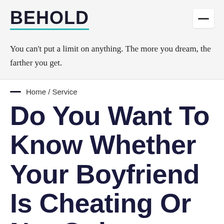BEHOLD
You can't put a limit on anything. The more you dream, the farther you get.
Home / Service
Do You Want To Know Whether Your Boyfriend Is Cheating Or Not Online?